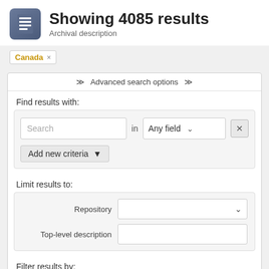Showing 4085 results
Archival description
Canada ×
≫  Advanced search options  ≫
Find results with:
Search  in  Any field  ×
Add new criteria ▼
Limit results to:
Repository
Top-level description
Filter results by: